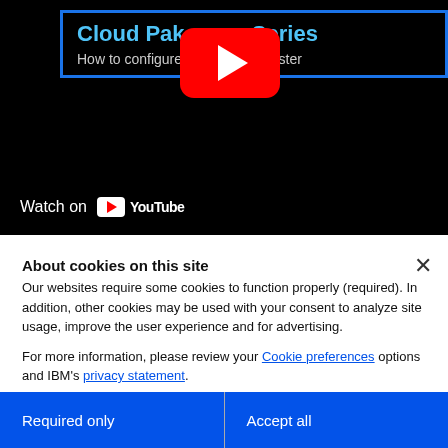[Figure (screenshot): YouTube video thumbnail showing IBM Cloud Pak video series titled 'Cloud Pak ... Series: How to configure ... atellite Cluster' with a YouTube play button overlay and a 'Watch on YouTube' bar at the bottom.]
About cookies on this site
Our websites require some cookies to function properly (required). In addition, other cookies may be used with your consent to analyze site usage, improve the user experience and for advertising.

For more information, please review your Cookie preferences options and IBM's privacy statement.
Required only
Accept all